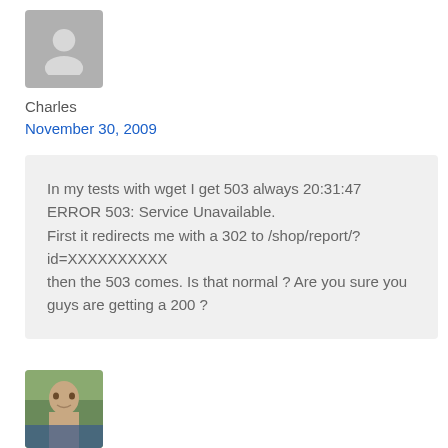[Figure (illustration): Gray placeholder avatar silhouette for user Charles]
Charles
November 30, 2009
In my tests with wget I get 503 always 20:31:47 ERROR 503: Service Unavailable. First it redirects me with a 302 to /shop/report/?id=XXXXXXXXXX then the 503 comes. Is that normal ? Are you sure you guys are getting a 200 ?
[Figure (photo): Profile photo of another user at the bottom of the page]